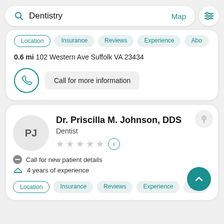[Figure (screenshot): Search bar with 'Dentistry' text, Map link, and filter icon]
0.6 mi  102 Western Ave Suffolk VA 23434
Call for more information
Dr. Priscilla M. Johnson, DDS
Dentist
Call for new patient details
4 years of experience